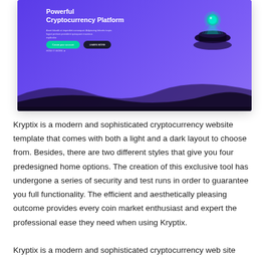[Figure (screenshot): Screenshot of Kryptix cryptocurrency website template showing a purple/violet gradient hero section with the headline 'Powerful Cryptocurrency Platform', a 3D glowing orb graphic, call-to-action buttons (green and dark), and a wave decoration at the bottom.]
Kryptix is a modern and sophisticated cryptocurrency website template that comes with both a light and a dark layout to choose from. Besides, there are two different styles that give you four predesigned home options. The creation of this exclusive tool has undergone a series of security and test runs in order to guarantee you full functionality. The efficient and aesthetically pleasing outcome provides every coin market enthusiast and expert the professional ease they need when using Kryptix.
Kryptix is a modern and sophisticated cryptocurrency web site